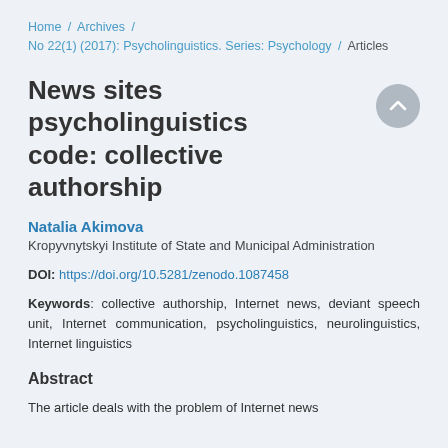Home / Archives / No 22(1) (2017): Psycholinguistics. Series: Psychology / Articles
News sites psycholinguistics code: collective authorship
Natalia Akimova
Kropyvnytskyi Institute of State and Municipal Administration
DOI: https://doi.org/10.5281/zenodo.1087458
Keywords: collective authorship, Internet news, deviant speech unit, Internet communication, psycholinguistics, neurolinguistics, Internet linguistics
Abstract
The article deals with the problem of Internet news